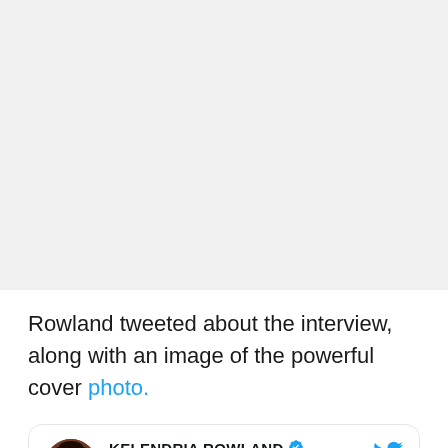[Figure (photo): Gray background image area (photo cropped/not visible)]
Rowland tweeted about the interview, along with an image of the powerful cover photo.
[Figure (screenshot): Twitter/tweet card showing KELENDRIA ROWLAND with verified badge and Twitter bird logo, with avatar photo of a person with curly hair]